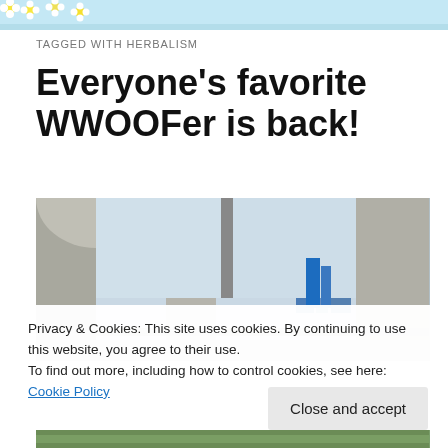[Figure (photo): Website header banner with flowers and light blue background]
TAGGED WITH HERBALISM
Everyone's favorite WWOOFer is back!
[Figure (photo): Urban scene photographed through concrete arches/columns with city skyline in background]
Privacy & Cookies: This site uses cookies. By continuing to use this website, you agree to their use.
To find out more, including how to control cookies, see here: Cookie Policy
Close and accept